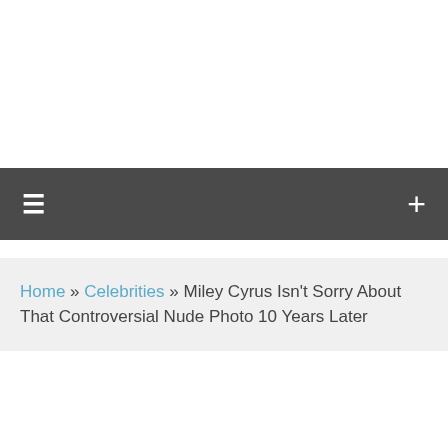≡  +
Home » Celebrities » Miley Cyrus Isn't Sorry About That Controversial Nude Photo 10 Years Later